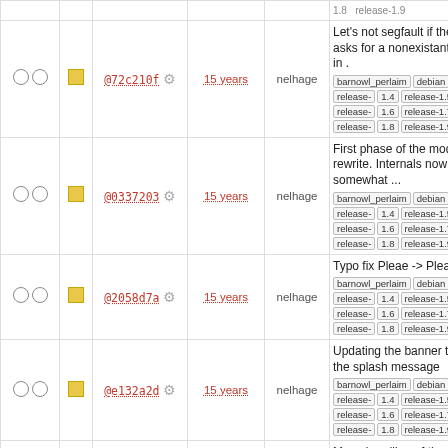| check | icon | hash | age | author | message |
| --- | --- | --- | --- | --- | --- |
| ○ ○ | ■ | @72c210f ⚙ | 15 years | nelhage | Let's not segfault if the user asks for a nonexistant style in . [barnowl_perlaim][debian][release-1.4][release-1.5][release-1.6][release-1.7][release-1.8][release-1.9] |
| ○ ○ | ■ | @0337203 ⚙ | 15 years | nelhage | First phase of the module rewrite. Internals now (IMO) somewhat ... [barnowl_perlaim][debian][release-1.4][release-1.5][release-1.6][release-1.7][release-1.8][release-1.9] |
| ○ ○ | ■ | @2058d7a ⚙ | 15 years | nelhage | Typo fix Pleae -> Please [barnowl_perlaim][debian][release-1.4][release-1.5][release-1.6][release-1.7][release-1.8][release-1.9] |
| ○ ○ | ■ | @e132a2d ⚙ | 15 years | nelhage | Updating the banner text on the splash message [barnowl_perlaim][debian][release-1.4][release-1.5][release-1.6][release-1.7][release-1.8][release-1.9] |
| ○ ○ | ■ | @39dc159 ⚙ | 16 years | nelhage | Move handling of the legacy owl::format_msg into perl. It no works again. [barnowl_perlaim][debian][release-1.4][release-1.5][release-1.6][release-1.7][release-1.8][release-1.9] |
| ○ ○ | ■ |  |  |  | Adding owl_obarray for interning strings |